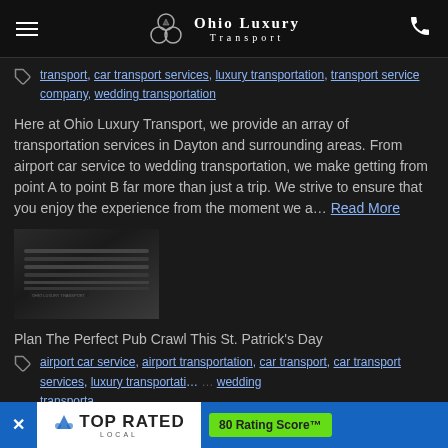Ohio Luxury Transport
transport, car transport services, luxury transportation, transport service company, wedding transportation
Here at Ohio Luxury Transport, we provide an array of transportation services in Dayton and surrounding areas. From airport car service to wedding transportation, we make getting from point A to point B far more than just a trip. We strive to ensure that you enjoy the experience from the moment we a… Read More
[Figure (photo): Dark photo of a luxury car roof/hood detail, black and silver tones]
Plan The Perfect Pub Crawl This St. Patrick's Day
airport car service, airport transportation, car transport, car transport services, luxury transportation, …wedding transportation
[Figure (infographic): Top Rated Local banner with 80 Rating Score badge in bottom overlay]